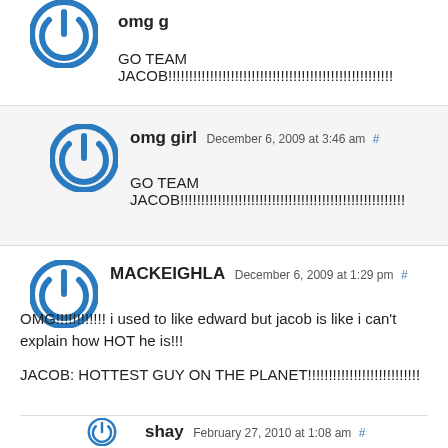[Figure (other): Blue power button circle avatar icon (partial, top of page)]
GO TEAM JACOB!!!!!!!!!!!!!!!!!!!!!!!!!!!!!!!!!!!!!!!!!!!!!!!!!!!!!!
[Figure (other): Blue power button circle avatar icon]
omg girl December 6, 2009 at 3:46 am #
GO TEAM JACOB!!!!!!!!!!!!!!!!!!!!!!!!!!!!!!!!!!!!!!!!!!!!!!!!!!!!!!
[Figure (other): Blue power button circle avatar icon]
MACKEIGHLA December 6, 2009 at 1:29 pm #
OMG!!!!!!!!!!!!! i used to like edward but jacob is like i can't explain how HOT he is!!!
JACOB: HOTTEST GUY ON THE PLANET!!!!!!!!!!!!!!!!!!!!!!!!!!!
[Figure (other): Blue power button circle avatar icon]
shay February 27, 2010 at 1:08 am #
i agree with u girl